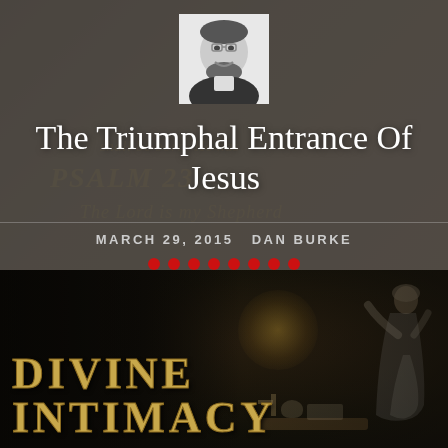[Figure (photo): Black and white headshot photo of Dan Burke, a bearded man smiling, wearing a suit]
The Triumphal Entrance Of Jesus
MARCH 29, 2015  DAN BURKE
[Figure (photo): Dark religious image showing a book cover or artwork titled 'Divine Intimacy' with golden ornate lettering on dark background, and a figure (possibly a saint or nun) kneeling with a candle, skull, cross and open book on a table]